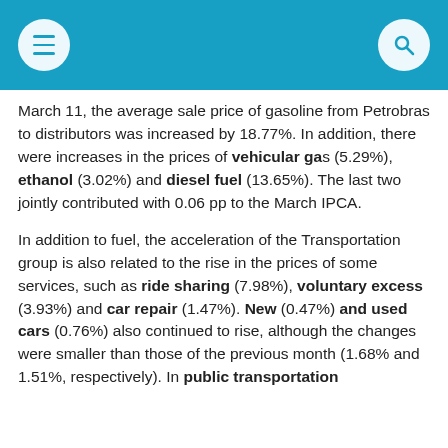Navigation header bar with menu and search icons
March 11, the average sale price of gasoline from Petrobras to distributors was increased by 18.77%. In addition, there were increases in the prices of vehicular gas (5.29%), ethanol (3.02%) and diesel fuel (13.65%). The last two jointly contributed with 0.06 pp to the March IPCA.
In addition to fuel, the acceleration of the Transportation group is also related to the rise in the prices of some services, such as ride sharing (7.98%), voluntary excess (3.93%) and car repair (1.47%). New (0.47%) and used cars (0.76%) also continued to rise, although the changes were smaller than those of the previous month (1.68% and 1.51%, respectively). In public transportation